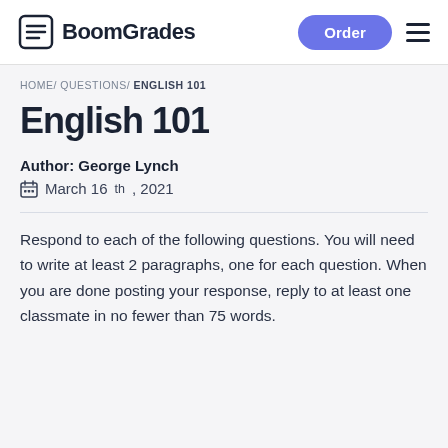BoomGrades
HOME/ QUESTIONS/ ENGLISH 101
English 101
Author: George Lynch
March 16th, 2021
Respond to each of the following questions. You will need to write at least 2 paragraphs, one for each question. When you are done posting your response, reply to at least one classmate in no fewer than 75 words.